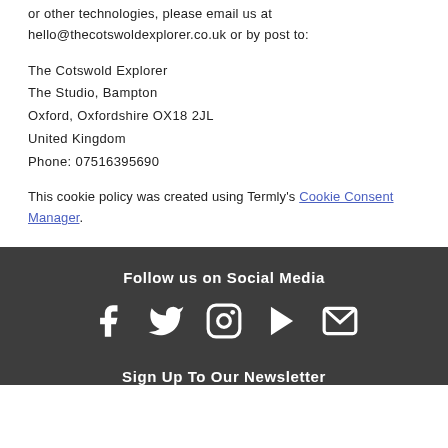or other technologies, please email us at hello@thecotswoldexplorer.co.uk or by post to:
The Cotswold Explorer
The Studio, Bampton
Oxford, Oxfordshire OX18 2JL
United Kingdom
Phone: 07516395690
This cookie policy was created using Termly's Cookie Consent Manager.
Follow us on Social Media
[Figure (infographic): Social media icons: Facebook, Twitter, Instagram, YouTube, Email]
Sign Up To Our Newsletter